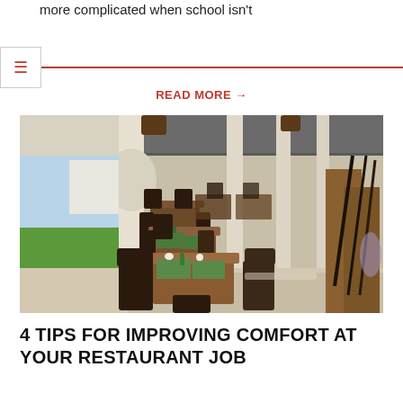more complicated when school isn't
READ MORE →
[Figure (photo): Interior of a restaurant with brown wooden tables set with green placemats, white cups, and small bottles, dark chairs, white arched columns, and a view of greenery outside through large openings on the left.]
4 TIPS FOR IMPROVING COMFORT AT YOUR RESTAURANT JOB